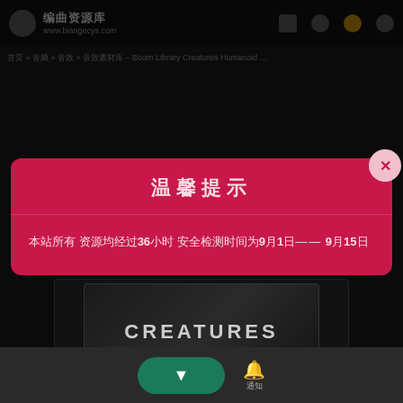编曲资源库 www.biangecys.com
首页 » 音频 » 音效 » 音效素材库 – Boom Library Creatures Humanoid
温馨提示
本站所有 资源均经过36小时 安全检测时间为9月1日—— 9月15日
[Figure (screenshot): CREATURES HUMANOID product cover image on dark background]
Download button and notification bell icon